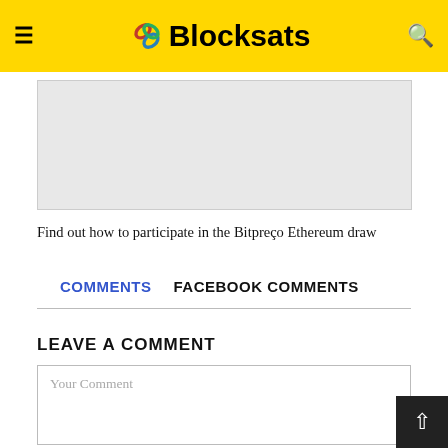≡ Blocksats 🔍
[Figure (other): Light gray advertisement placeholder box]
Find out how to participate in the Bitpreço Ethereum draw
COMMENTS   FACEBOOK COMMENTS
LEAVE A COMMENT
Your Comment